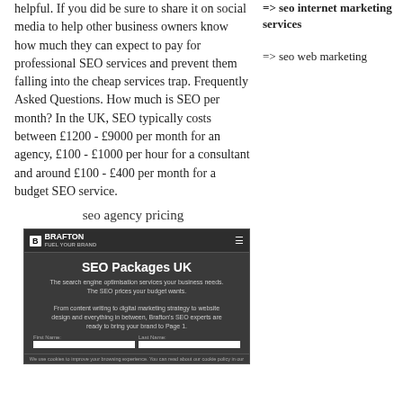helpful. If you did be sure to share it on social media to help other business owners know how much they can expect to pay for professional SEO services and prevent them falling into the cheap services trap. Frequently Asked Questions. How much is SEO per month? In the UK, SEO typically costs between £1200 - £9000 per month for an agency, £100 - £1000 per hour for a consultant and around £100 - £400 per month for a budget SEO service.
=> seo internet marketing services
=> seo web marketing
seo agency pricing
[Figure (screenshot): Screenshot of Brafton website showing 'SEO Packages UK' page with subtitle text about search engine optimisation services, content writing, digital marketing, and a form with First Name and Last Name fields.]